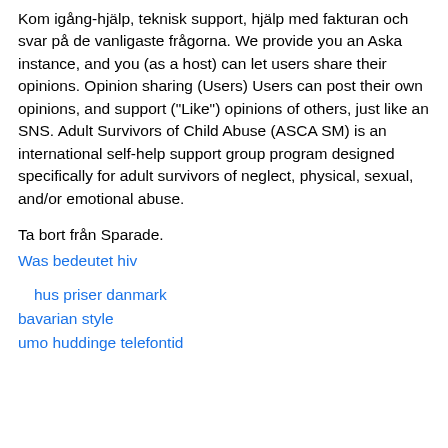Kom igång-hjälp, teknisk support, hjälp med fakturan och svar på de vanligaste frågorna. We provide you an Aska instance, and you (as a host) can let users share their opinions. Opinion sharing (Users) Users can post their own opinions, and support ("Like") opinions of others, just like an SNS. Adult Survivors of Child Abuse (ASCA SM) is an international self-help support group program designed specifically for adult survivors of neglect, physical, sexual, and/or emotional abuse.
Ta bort från Sparade.
Was bedeutet hiv
hus priser danmark
bavarian style
umo huddinge telefontid